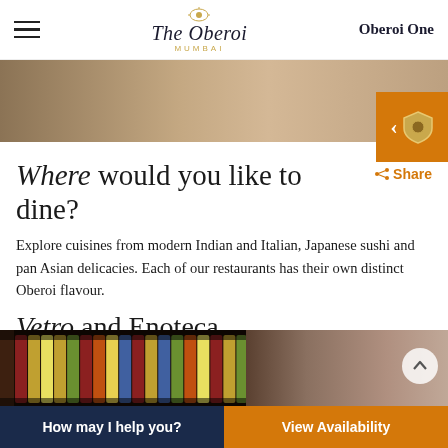The Oberoi MUMBAI — Oberoi One
[Figure (photo): Hotel interior banner photo strip showing warm beige and brown tones]
Where would you like to dine?
Share
Explore cuisines from modern Indian and Italian, Japanese sushi and pan Asian delicacies. Each of our restaurants has their own distinct Oberoi flavour.
Vetro and Enoteca.
[Figure (photo): Restaurant interior showing wine bottles on shelves with colorful backlit panels on the left, and a modern dining room with warm lighting on the right]
How may I help you?  |  View Availability